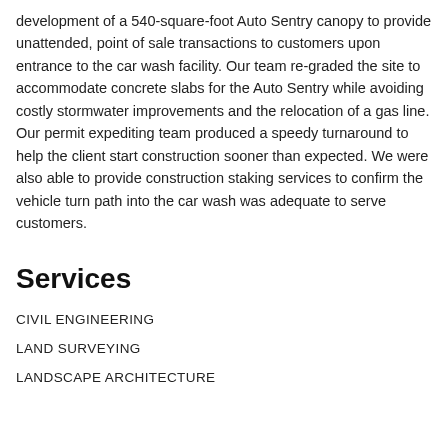development of a 540-square-foot Auto Sentry canopy to provide unattended, point of sale transactions to customers upon entrance to the car wash facility. Our team re-graded the site to accommodate concrete slabs for the Auto Sentry while avoiding costly stormwater improvements and the relocation of a gas line. Our permit expediting team produced a speedy turnaround to help the client start construction sooner than expected. We were also able to provide construction staking services to confirm the vehicle turn path into the car wash was adequate to serve customers.
Services
CIVIL ENGINEERING
LAND SURVEYING
LANDSCAPE ARCHITECTURE